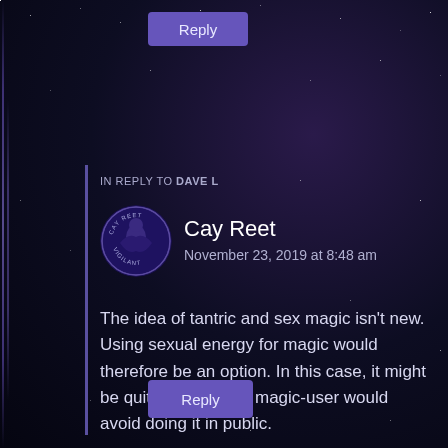Reply
IN REPLY TO DAVE L
[Figure (logo): Circular logo with text CAY REET around top and VIGILANT around bottom, with an illustration of a figure in the center, purple/dark theme]
Cay Reet
November 23, 2019 at 8:48 am
The idea of tantric and sex magic isn't new. Using sexual energy for magic would therefore be an option. In this case, it might be quite likely that a magic-user would avoid doing it in public.
Reply